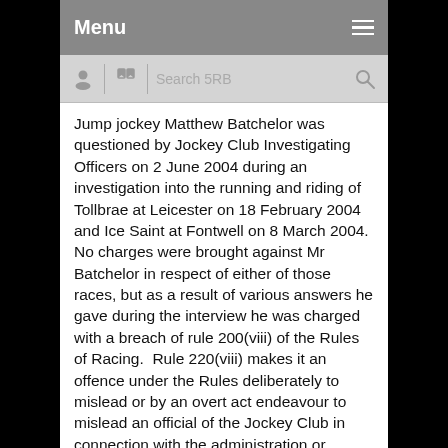Menu
Jump jockey Matthew Batchelor was questioned by Jockey Club Investigating Officers on 2 June 2004 during an investigation into the running and riding of Tollbrae at Leicester on 18 February 2004 and Ice Saint at Fontwell on 8 March 2004. No charges were brought against Mr Batchelor in respect of either of those races, but as a result of various answers he gave during the interview he was charged with a breach of rule 200(viii) of the Rules of Racing.  Rule 220(viii) makes it an offence under the Rules deliberately to mislead or by an overt act endeavour to mislead an official of the Jockey Club in connection with the administration or control of racing.
The Disciplinary Panel was composed of the Duke of Roxburghe as Chairman, Lord Bathurst, and...